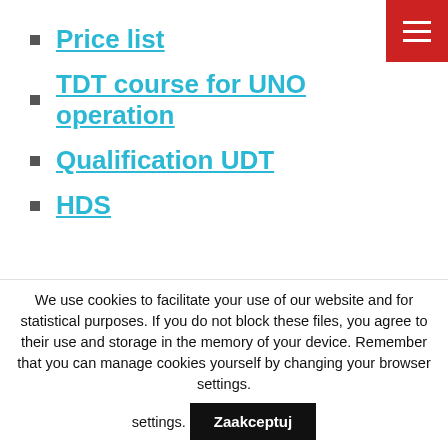Price list
TDT course for UNO operation
Qualification UDT
HDS
[Figure (other): Red hamburger menu button in top-right corner]
Sign up for training
Request for quotation
We use cookies to facilitate your use of our website and for statistical purposes. If you do not block these files, you agree to their use and storage in the memory of your device. Remember that you can manage cookies yourself by changing your browser settings.
Zaakceptuj